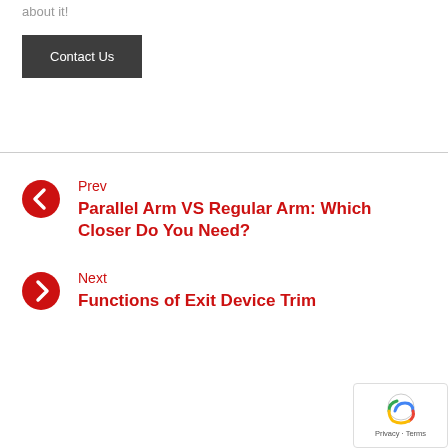about it!
Contact Us
Prev
Parallel Arm VS Regular Arm: Which Closer Do You Need?
Next
Functions of Exit Device Trim